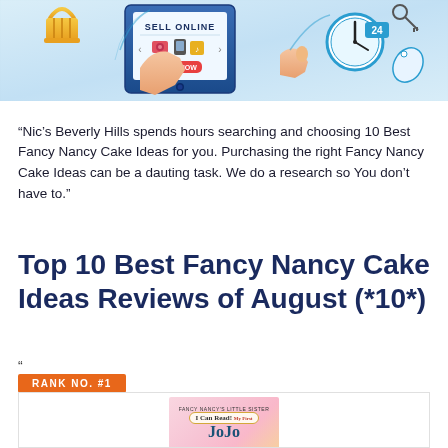[Figure (illustration): E-commerce banner illustration showing hands holding a tablet with 'SELL ONLINE' text and 'BUY NOW' button, surrounded by shopping basket, clock showing 24, and product icons]
“Nic’s Beverly Hills spends hours searching and choosing 10 Best Fancy Nancy Cake Ideas for you. Purchasing the right Fancy Nancy Cake Ideas can be a dauting task. We do a research so You don’t have to.”
Top 10 Best Fancy Nancy Cake Ideas Reviews of August (*10*)
“
RANK NO. #1
[Figure (photo): Book cover for 'I Can Read! My First - JoJo' from Fancy Nancy's little sister series, pink and yellow cover]